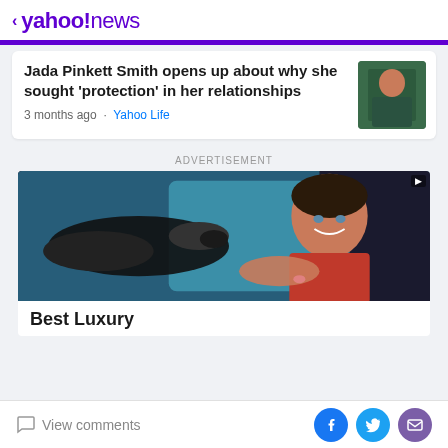< yahoo!news
Jada Pinkett Smith opens up about why she sought 'protection' in her relationships
3 months ago · Yahoo Life
ADVERTISEMENT
[Figure (photo): Advertisement photo: smiling woman in red reaching for car keys from someone off-screen, car dealership context]
Best Luxury
View comments